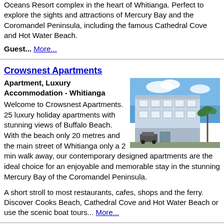Oceans Resort complex in the heart of Whitianga. Perfect to explore the sights and attractions of Mercury Bay and the Coromandel Peninsula, including the famous Cathedral Cove and Hot Water Beach.
Guest... More...
Crowsnest Apartments
Apartment, Luxury Accommodation - Whitianga
[Figure (photo): Photo of Crowsnest Apartments building - a white multi-storey apartment complex with balconies and palm trees in front]
Welcome to Crowsnest Apartments. 25 luxury holiday apartments with stunning views of Buffalo Beach. With the beach only 20 metres and the main street of Whitianga only a 2 min walk away, our contemporary designed apartments are the ideal choice for an enjoyable and memorable stay in the stunning Mercury Bay of the Coromandel Peninsula.
A short stroll to most restaurants, cafes, shops and the ferry. Discover Cooks Beach, Cathedral Cove and Hot Water Beach or use the scenic boat tours... More...
Absolute Beachview B & B